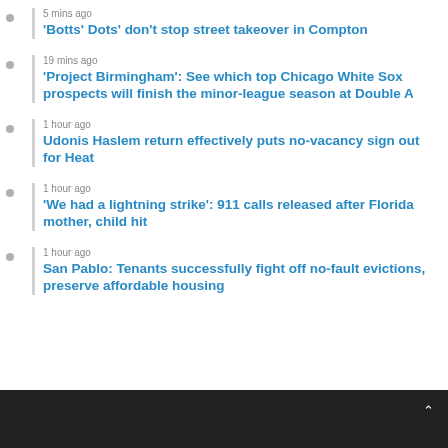5 mins ago — 'Botts' Dots' don't stop street takeover in Compton
19 mins ago — 'Project Birmingham': See which top Chicago White Sox prospects will finish the minor-league season at Double A
1 hour ago — Udonis Haslem return effectively puts no-vacancy sign out for Heat
1 hour ago — 'We had a lightning strike': 911 calls released after Florida mother, child hit
1 hour ago — San Pablo: Tenants successfully fight off no-fault evictions, preserve affordable housing